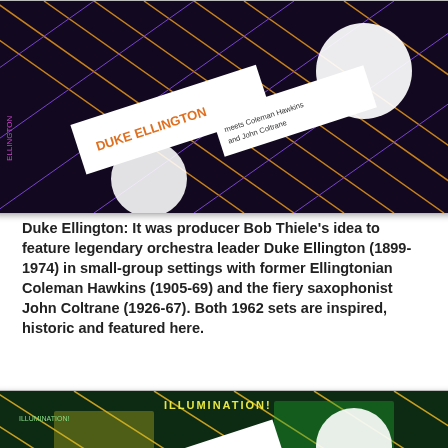[Figure (photo): Album cover artwork for Duke Ellington sessions — dark background with diagonal gold/purple grid lines, white rectangular label strips showing 'DUKE ELLINGTON' in orange text, circular disc shapes, featuring Coleman Hawkins and John Coltrane]
Duke Ellington: It was producer Bob Thiele's idea to feature legendary orchestra leader Duke Ellington (1899-1974) in small-group settings with former Ellingtonian Coleman Hawkins (1905-69) and the fiery saxophonist John Coltrane (1926-67). Both 1962 sets are inspired, historic and featured here.
[Figure (photo): Album cover artwork for 'Illuminations' — green and yellow background with diagonal grid, white label strip showing 'ELVIN JONES' text, circular disc shapes, small figures/photos visible]